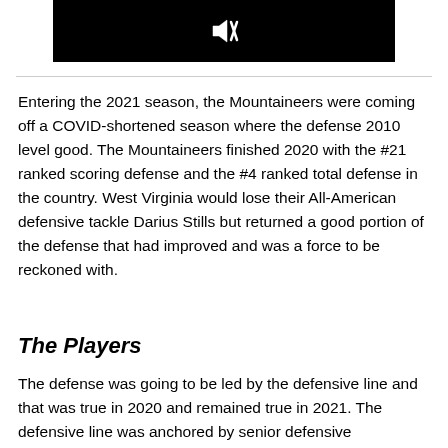[Figure (screenshot): Video player thumbnail showing a black background with a muted/audio-off icon in the upper left area.]
Entering the 2021 season, the Mountaineers were coming off a COVID-shortened season where the defense 2010 level good. The Mountaineers finished 2020 with the #21 ranked scoring defense and the #4 ranked total defense in the country. West Virginia would lose their All-American defensive tackle Darius Stills but returned a good portion of the defense that had improved and was a force to be reckoned with.
The Players
The defense was going to be led by the defensive line and that was true in 2020 and remained true in 2021. The defensive line was anchored by senior defensive